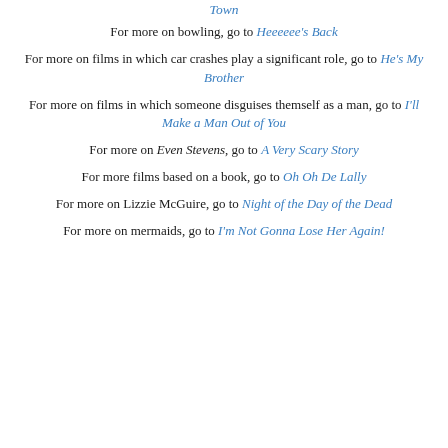Town
For more on bowling, go to Heeeeee's Back
For more on films in which car crashes play a significant role, go to He's My Brother
For more on films in which someone disguises themself as a man, go to I'll Make a Man Out of You
For more on Even Stevens, go to A Very Scary Story
For more films based on a book, go to Oh Oh De Lally
For more on Lizzie McGuire, go to Night of the Day of the Dead
For more on mermaids, go to I'm Not Gonna Lose Her Again!